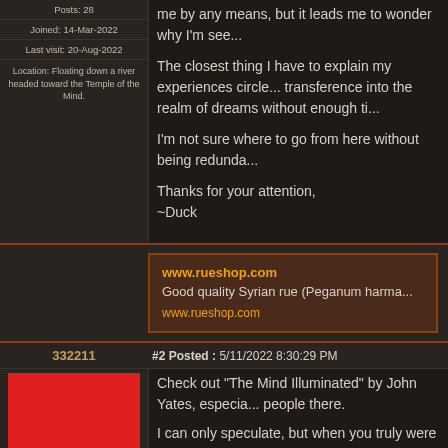Posts: 28
Joined: 14-Mar-2022
Last visit: 20-Aug-2022
Location: Floating down a river headed toward the Temple of the Mind.
me by any means, but it leads me to wonder why I'm see...
The closest thing I have to explain my experiences circle... transference into the realm of dreams without enough ti...
I'm not sure where to go from here without being redunda...
Thanks for your attention,
~Duck
www.rueshop.com
Good quality Syrian rue (Peganum harmala...
www.rueshop.com
332211
#2 Posted : 5/11/2022 8:30:29 PM
[Figure (photo): Red square avatar image]
Check out "The Mind Illuminated" by John Yates, especia... people there.
I can only speculate, but when you truly were meditating... be avoided, because they only distract from progressing...